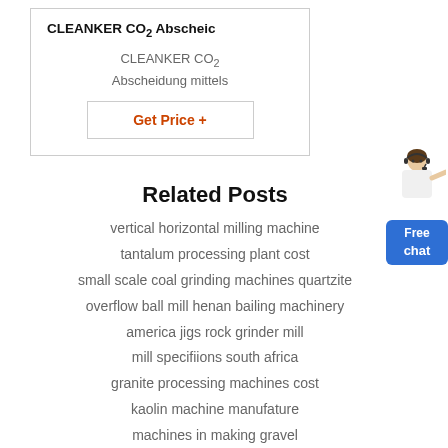CLEANKER CO₂ Abscheid
CLEANKER CO₂
Abscheidung mittels
Get Price +
Related Posts
vertical horizontal milling machine
tantalum processing plant cost
small scale coal grinding machines quartzite
overflow ball mill henan bailing machinery
america jigs rock grinder mill
mill specifiions south africa
granite processing machines cost
kaolin machine manufature
machines in making gravel
images of pulverizer
sand dryer machine italy
mill am tires
[Figure (illustration): Customer service person icon with Free chat button widget]